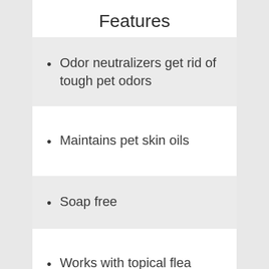Features
Odor neutralizers get rid of tough pet odors
Maintains pet skin oils
Soap free
Works with topical flea treatments
No dyes or dander...